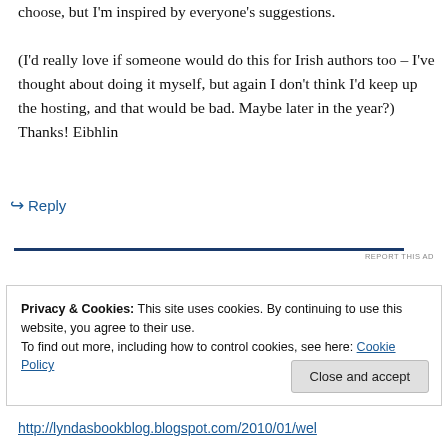choose, but I'm inspired by everyone's suggestions.
(I'd really love if someone would do this for Irish authors too – I've thought about doing it myself, but again I don't think I'd keep up the hosting, and that would be bad. Maybe later in the year?)
Thanks! Eibhlin
↪ Reply
REPORT THIS AD
Privacy & Cookies: This site uses cookies. By continuing to use this website, you agree to their use.
To find out more, including how to control cookies, see here: Cookie Policy
Close and accept
http://lyndasbookblog.blogspot.com/2010/01/wel